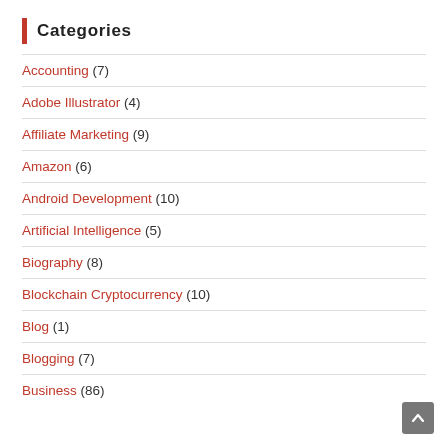Categories
Accounting (7)
Adobe Illustrator (4)
Affiliate Marketing (9)
Amazon (6)
Android Development (10)
Artificial Intelligence (5)
Biography (8)
Blockchain Cryptocurrency (10)
Blog (1)
Blogging (7)
Business (86)